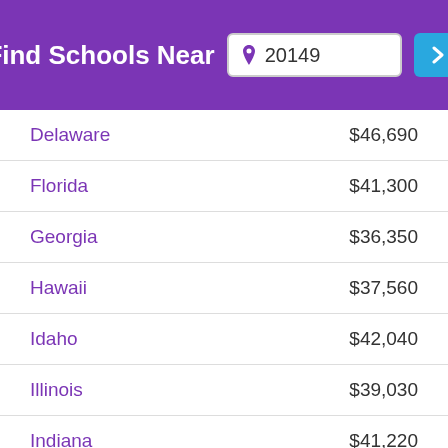Find Schools Near 20149
| State | Salary |
| --- | --- |
| Delaware | $46,690 |
| Florida | $41,300 |
| Georgia | $36,350 |
| Hawaii | $37,560 |
| Idaho | $42,040 |
| Illinois | $39,030 |
| Indiana | $41,220 |
| Iowa | $44,390 |